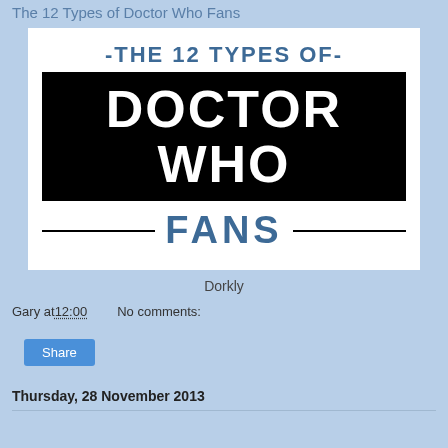The 12 Types of Doctor Who Fans
[Figure (infographic): Infographic titled 'The 12 Types of Doctor Who Fans'. White background with blue and black text. Top line reads '-THE 12 TYPES OF-' in bold blue. Middle black bar reads 'DOCTOR WHO' in large white bold text. Bottom section reads '-FANS-' in bold blue with horizontal lines on each side.]
Dorkly
Gary at 12:00   No comments:
Share
Thursday, 28 November 2013